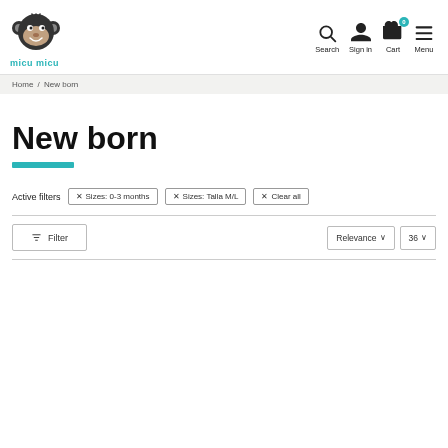[Figure (logo): Micu Micu monkey logo with teal text]
Search  Sign in  Cart  Menu
Home / New born
New born
Active filters  ✕ Sizes: 0-3 months  ✕ Sizes: Talla M/L  ✕ Clear all
Filter  Relevance ∨  36 ∨